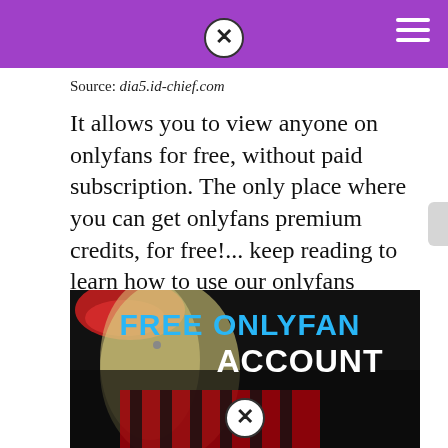Source: dia5.id-chief.com
It allows you to view anyone on onlyfans for free, without paid subscription. The only place where you can get onlyfans premium credits, for free!... keep reading to learn how to use our onlyfans currency generator!
[Figure (photo): Promotional image showing a person with blonde hair and red lips, with overlaid text reading 'FREE ONLYFANS ACCOUNT' in bold blue and white letters on a dark background.]